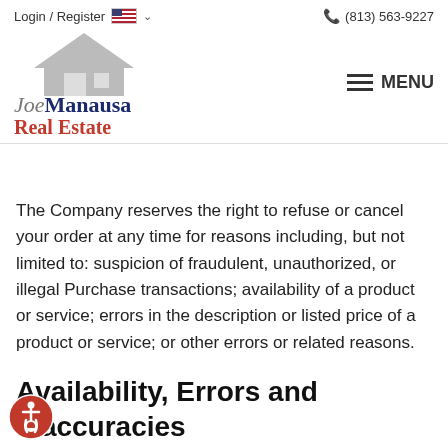Login / Register  🇺🇸 ▾   📞 (813) 563-9227
[Figure (logo): Joe Manausa Real Estate logo with house icon]
The Company reserves the right to refuse or cancel your order at any time for reasons including, but not limited to: suspicion of fraudulent, unauthorized, or illegal Purchase transactions; availability of a product or service; errors in the description or listed price of a product or service; or other errors or related reasons.
Availability, Errors and Inaccuracies
The Company is constantly updating product and service offerings on the Service, and sometimes there are delays between an update of information on the